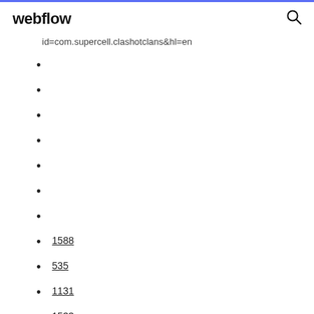webflow
id=com.supercell.clashotclans&hl=en
1588
535
1131
1533